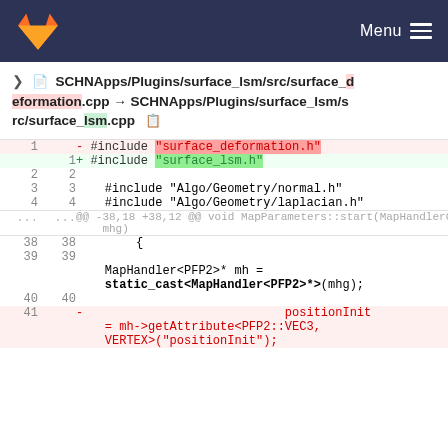Menu
SCHNApps/Plugins/surface_lsm/src/surface_deformation.cpp → SCHNApps/Plugins/surface_lsm/src/surface_lsm.cpp
[Figure (screenshot): Code diff showing replacement of #include surface_deformation.h with #include surface_lsm.h and context lines with MapHandler and positionInit code]